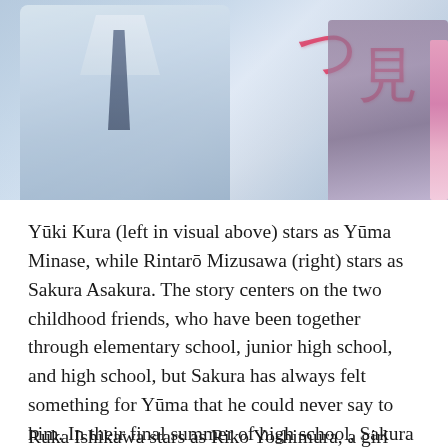[Figure (photo): A promotional visual/key visual image for a Japanese drama or film. On the left is a person in a light blue/white shirt with a dark tie (partially visible from the waist up). On the right side are pink kanji characters arranged vertically. Far right shows another figure in darker clothing with a pink streamer or decoration. The background has soft blue-grey tones.]
Yūki Kura (left in visual above) stars as Yūma Minase, while Rintarō Mizusawa (right) stars as Sakura Asakura. The story centers on the two childhood friends, who have been together through elementary school, junior high school, and high school, but Sakura has always felt something for Yūma that he could never say to him. In their final summer of high school, Sakura confesses his feelings to Yūma, and kisses him.
Ruka Ishikawa stars as Riko Yoshimura, a girl